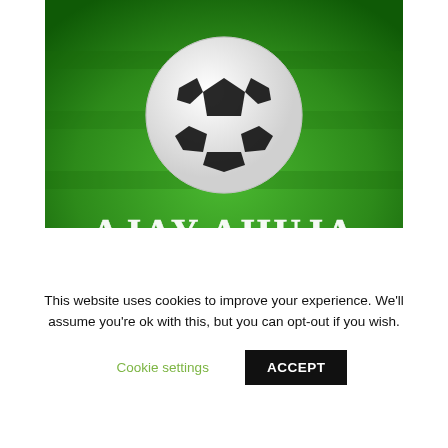[Figure (photo): Book cover image showing a soccer ball on green grass with text 'AJAY AHUJA' and 'Copyrighted Material' at the bottom]
Click here to download the complete book as PDF
CLICK FOR NEXT CHAPTER
The Ajay Ahuja Website - full of free advice, property tips and more...
This website uses cookies to improve your experience. We'll assume you're ok with this, but you can opt-out if you wish.
Cookie settings
ACCEPT